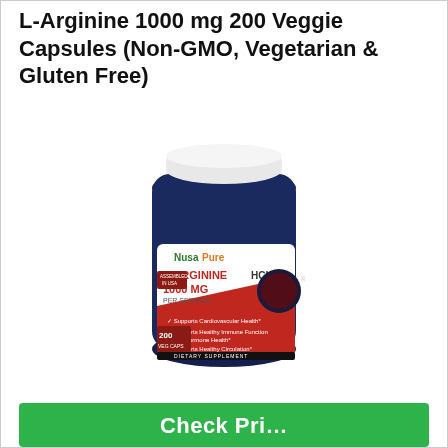L-Arginine 1000 mg 200 Veggie Capsules (Non-GMO, Vegetarian & Gluten Free)
[Figure (photo): NusaPure L-Arginine HCl 1000 MG Per Serving supplement bottle with dark blue container, white cap, and red/white label showing 200 Veggie Caps. Label states: Supports Cardiovascular Health, Supports Healthy Immune Function and Hormone Health, Supports Healthy Circulation. Dietary Supplement.]
Check Price